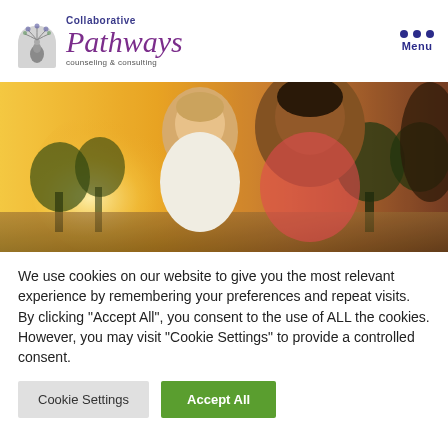[Figure (logo): Collaborative Pathways Counseling & Consulting logo with peacock icon, purple script text and navy subtitle]
[Figure (photo): Close-up photo of two children outdoors at sunset, warm golden backlight, trees in background]
We use cookies on our website to give you the most relevant experience by remembering your preferences and repeat visits. By clicking "Accept All", you consent to the use of ALL the cookies. However, you may visit "Cookie Settings" to provide a controlled consent.
Cookie Settings | Accept All